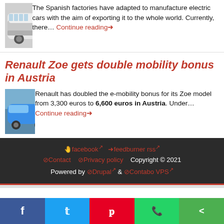[Figure (photo): White Mercedes EQV minivan electric car]
The Spanish factories have adapted to manufacture electric cars with the aim of exporting it to the whole world. Currently, there… Continue reading→
Renault Zoe gets double mobility bonus in Austria
[Figure (photo): Blue Renault Zoe electric car at charging station]
Renault has doubled the e-mobility bonus for its Zoe model from 3,300 euros to 6,600 euros in Austria. Under… Continue reading→
🖐facebook↗ →feedburner rss↗ ⊘Contact ⊘Privacy policy Copyright © 2021 Powered by ⊘Drupal↗ & ⊘Contabo VPS↗